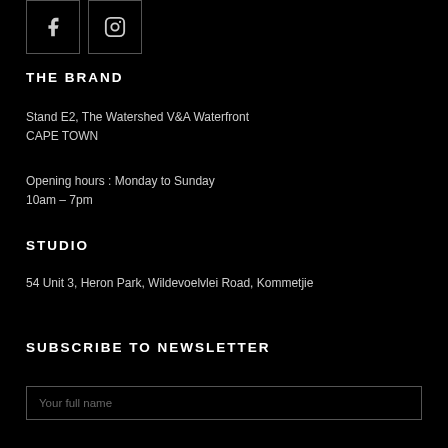[Figure (other): Social media icon buttons: Facebook and Instagram, dark background with border]
THE BRAND
Stand E2, The Watershed V&A Waterfront
CAPE TOWN
Opening hours : Monday to Sunday
10am – 7pm
STUDIO
54 Unit 3, Heron Park, Wildevoelvlei Road, Kommetjie
SUBSCRIBE TO NEWSLETTER
Your full name